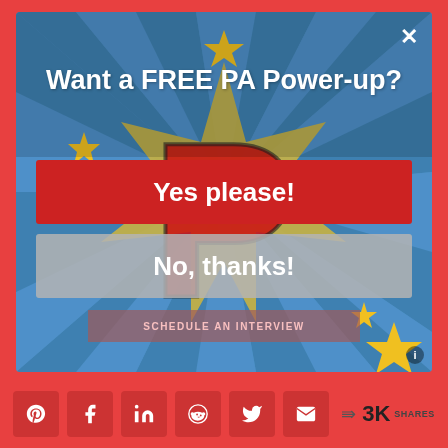[Figure (screenshot): A pop-up modal dialog with a comic book style background showing a large red letter P with yellow star bursts on a blue ray background. The modal contains the text 'Want a FREE PA Power-up?' and two buttons: 'Yes please!' (red) and 'No, thanks!' (grey). A close X button appears in the top right. Below the modal is a partially visible 'SCHEDULE AN INTERVIEW' bar. The background is red/coral. At the bottom is a social sharing bar with Pinterest, Facebook, LinkedIn, Reddit, Twitter, Email icons and '3K SHARES' count.]